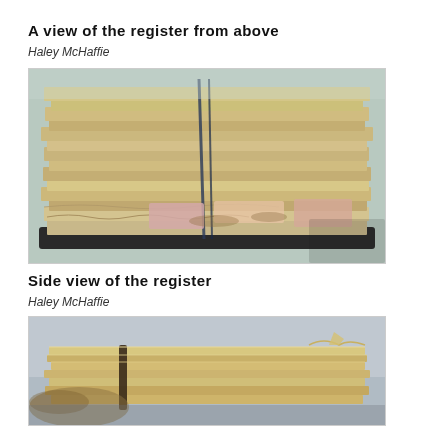A view of the register from above
Haley McHaffie
[Figure (photo): A stack of heavily worn, yellowed paper documents/registers viewed from above, bound together and sitting on a dark surface. The papers are crumpled, torn at edges, and show aging and staining.]
Side view of the register
Haley McHaffie
[Figure (photo): A side/angled view of the same stack of aged, worn paper registers, showing the thickness and deterioration of the documents. The pages are yellowed and crumpled.]